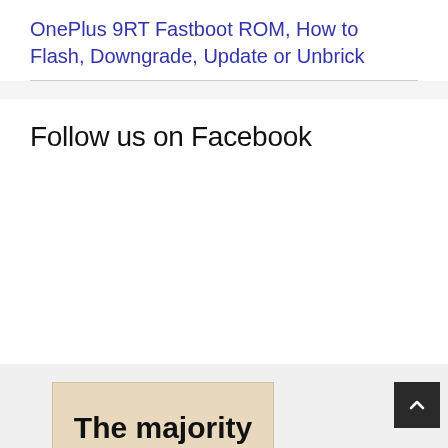OnePlus 9RT Fastboot ROM, How to Flash, Downgrade, Update or Unbrick
Follow us on Facebook
[Figure (other): Advertisement banner with text 'The majority' on a beige/tan background]